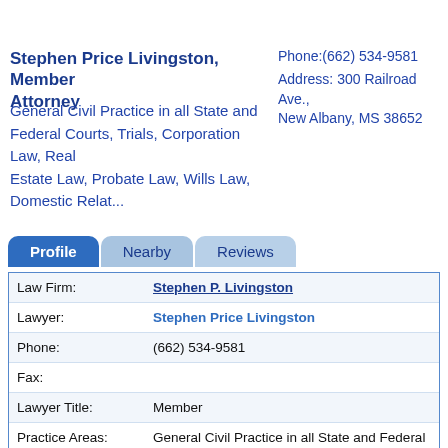Stephen Price Livingston, Member Attorney
General Civil Practice in all State and Federal Courts, Trials, Corporation Law, Real Estate Law, Probate Law, Wills Law, Domestic Relat...
Phone:(662) 534-9581
Address: 300 Railroad Ave., New Albany, MS 38652
Profile  Nearby  Reviews
| Field | Value |
| --- | --- |
| Law Firm: | Stephen P. Livingston |
| Lawyer: | Stephen Price Livingston |
| Phone: | (662) 534-9581 |
| Fax: |  |
| Lawyer Title: | Member |
| Practice Areas: | General Civil Practice in all State and Federal Courts, Trials, Corporation Law, Real Estate Law, Probate Law, Wills Law, Domestic Relations Law, Negligence Law, Employment Law, Compensation Law, Real... |